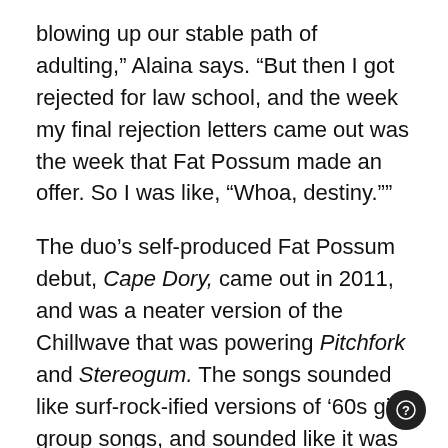blowing up our stable path of adulting," Alaina says. “But then I got rejected for law school, and the week my final rejection letters came out was the week that Fat Possum made an offer. So I was like, “Whoa, destiny.””
The duo’s self-produced Fat Possum debut, Cape Dory, came out in 2011, and was a neater version of the Chillwave that was powering Pitchfork and Stereogum. The songs sounded like surf-rock-ified versions of ‘60s girl group songs, and sounded like it was written by the